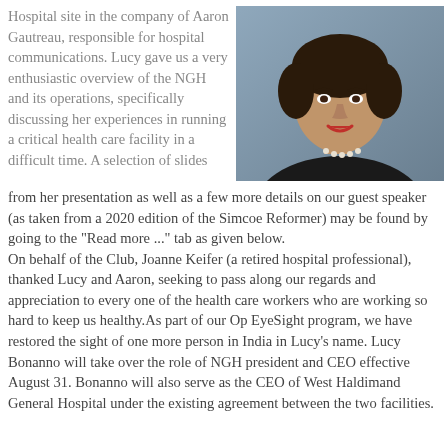Hospital site in the company of Aaron Gautreau, responsible for hospital communications. Lucy gave us a very enthusiastic overview of the NGH and its operations, specifically discussing her experiences in running a critical health care facility in a difficult time. A selection of slides
[Figure (photo): Professional headshot of a woman in a dark blazer with pearl necklace, smiling, against a blue-grey background]
from her presentation as well as a few more details on our guest speaker (as taken from a 2020 edition of the Simcoe Reformer) may be found by going to the "Read more ..." tab as given below. On behalf of the Club, Joanne Keifer (a retired hospital professional), thanked Lucy and Aaron, seeking to pass along our regards and appreciation to every one of the health care workers who are working so hard to keep us healthy.As part of our Op EyeSight program, we have restored the sight of one more person in India in Lucy's name. Lucy Bonanno will take over the role of NGH president and CEO effective August 31. Bonanno will also serve as the CEO of West Haldimand General Hospital under the existing agreement between the two facilities.